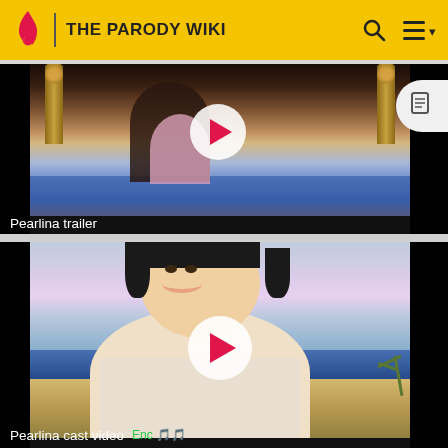THE PARODY WIKI
[Figure (screenshot): Video thumbnail for 'Pearlina trailer' showing animated bedroom scene with play button overlay]
Pearlina trailer
[Figure (screenshot): Video thumbnail for 'Pearlina cast video' showing animated character (Prince Eric style) on beach with play button overlay]
Pearlina cast video